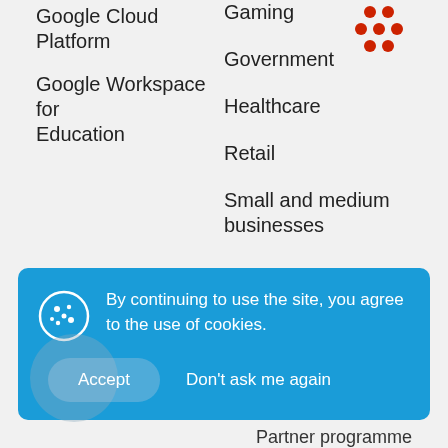Google Cloud Platform
Gaming
Google Workspace for Education
Government
[Figure (logo): Red dots logo arranged in a grid pattern]
Healthcare
Retail
Small and medium businesses
Knowledge
Company
By continuing to use the site, you agree to the use of cookies.
Accept
Don't ask me again
Partner programme